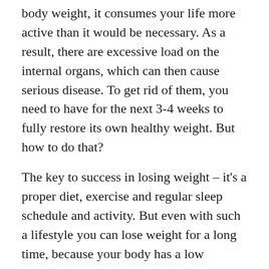body weight, it consumes your life more active than it would be necessary. As a result, there are excessive load on the internal organs, which can then cause serious disease. To get rid of them, you need to have for the next 3-4 weeks to fully restore its own healthy weight. But how to do that?
The key to success in losing weight – it's a proper diet, exercise and regular sleep schedule and activity. But even with such a lifestyle you can lose weight for a long time, because your body has a low metabolism, and any calorie properly processed and remain in the body. That is why, when there are problems and you want to solve them, you need to use additional tools. For example, very good feedback has natural fat burner Digestit Colon Cleanse for slimming. Most of today's experts on nutrition and fitness trainers have expressed their admiration for the results that can be achieved with